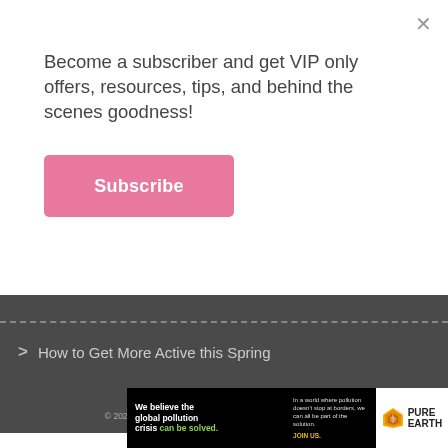×
Become a subscriber and get VIP only offers, resources, tips, and behind the scenes goodness!
Subscribe
How to Get More Active this Spring
© 2022 Amy's Balancing Act. All rights reserved. Privacy Policy
[Figure (screenshot): Pure Earth advertisement banner: 'We believe the global pollution crisis can be solved. In a world where pollution doesn't stop at borders, we can all be part of the solution. JOIN US.' with Pure Earth logo.]